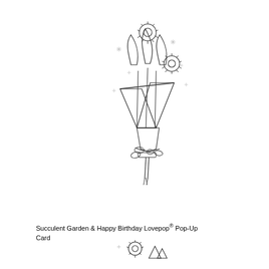[Figure (illustration): A black and white line drawing of a flower bouquet wrapped in paper, with daisy-like flowers, tulip-shaped blooms, and sparkle decorations, tied with a ribbon at the base.]
Succulent Garden & Happy Birthday Lovepop® Pop-Up Card
[Figure (illustration): A partially visible black and white line drawing of another flower bouquet at the bottom of the page.]